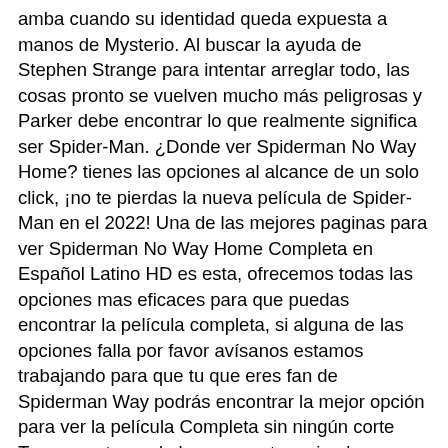amba cuando su identidad queda expuesta a manos de Mysterio. Al buscar la ayuda de Stephen Strange para intentar arreglar todo, las cosas pronto se vuelven mucho más peligrosas y Parker debe encontrar lo que realmente significa ser Spider-Man. ¿Donde ver Spiderman No Way Home? tienes las opciones al alcance de un solo click, ¡no te pierdas la nueva película de Spider-Man en el 2022! Una de las mejores paginas para ver Spiderman No Way Home Completa en Español Latino HD es esta, ofrecemos todas las opciones mas eficaces para que puedas encontrar la película completa, si alguna de las opciones falla por favor avísanos estamos trabajando para que tu que eres fan de Spiderman Way podrás encontrar la mejor opción para ver la película Completa sin ningún corte Tercera entrega de la saga protagonizada por Peter Parker (Tom Holland), en la que un adolescente corriente debe compaginar su vida en el instituto con su faceta de Spider Man, un superhéroe que lucha contra el mal que acecha a la sociedad. Este filme, basado en los cómics de Marvel creados por Stan Lee y Steve Ditko, es la continuación de las películas Spider-Man: Homecoming (2017) y Spider-Man: Lejos de casa (2019), cuya producción corre a cargo de Kevin Feige. The 355 (2022) es una película de Acción, Aventura y Fantasía en Audio Español, Latino, Castellano y Subtitulado. Ver The 355 Online o descargar Película